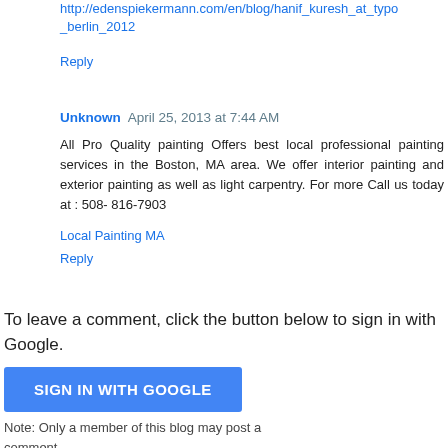http://edenspiekermann.com/en/blog/hanif_kuresh_at_typo_berlin_2012
Reply
Unknown April 25, 2013 at 7:44 AM
All Pro Quality painting Offers best local professional painting services in the Boston, MA area. We offer interior painting and exterior painting as well as light carpentry. For more Call us today at : 508- 816-7903
Local Painting MA
Reply
To leave a comment, click the button below to sign in with Google.
SIGN IN WITH GOOGLE
Note: Only a member of this blog may post a comment.